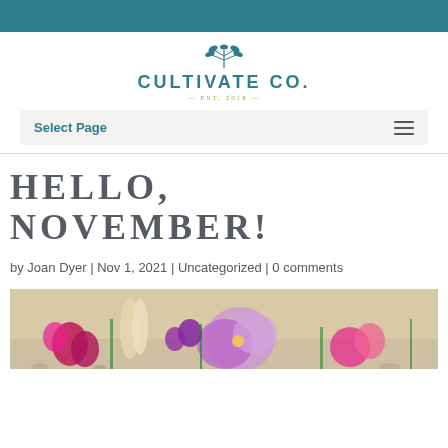[Figure (logo): Cultivate Co. logo with botanical branch illustration above text, EST. 2018 below]
Select Page
HELLO, NOVEMBER!
by Joan Dyer | Nov 1, 2021 | Uncategorized | 0 comments
[Figure (photo): Colorful floral arrangement with pink, purple, and beige flowers on a light background]